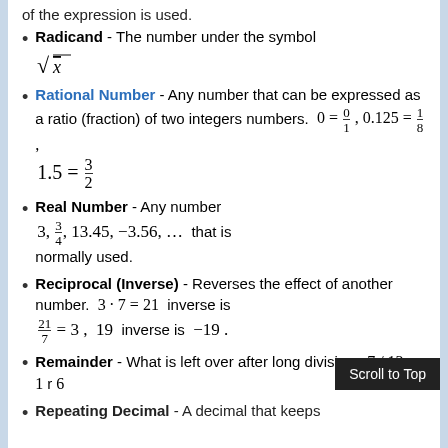of the expression is used.
Radicand - The number under the symbol √x
Rational Number - Any number that can be expressed as a ratio (fraction) of two integers numbers. 0 = 0/1 , 0.125 = 1/8 , 1.5 = 3/2
Real Number - Any number 3, 3/4, 13.45, −3.56, ... that is normally used.
Reciprocal (Inverse) - Reverses the effect of another number. 3 · 7 = 21 inverse is 21/7 = 3 , 19 inverse is −19 .
Remainder - What is left over after long division. 7 / 13 = 1 r 6
Repeating Decimal - A decimal that keeps